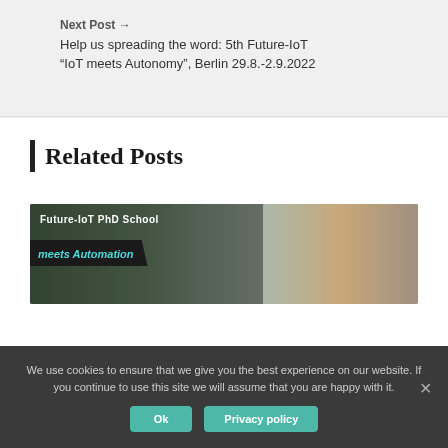Next Post → Help us spreading the word: 5th Future-IoT "IoT meets Autonomy", Berlin 29.8.-2.9.2022
Related Posts
[Figure (photo): Photo banner for Future-IoT PhD School 'meets Automation' event, showing a dark overlay with cyan italic text and a robot/automation imagery on the right]
We use cookies to ensure that we give you the best experience on our website. If you continue to use this site we will assume that you are happy with it.